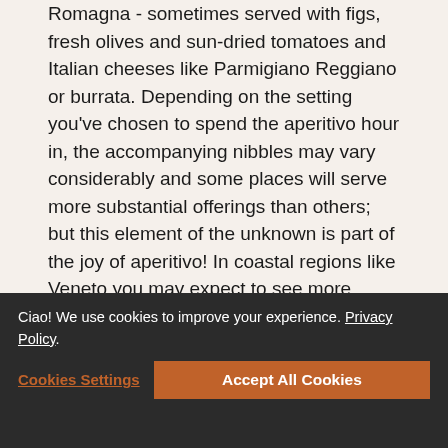Romagna - sometimes served with figs, fresh olives and sun-dried tomatoes and Italian cheeses like Parmigiano Reggiano or burrata. Depending on the setting you've chosen to spend the aperitivo hour in, the accompanying nibbles may vary considerably and some places will serve more substantial offerings than others; but this element of the unknown is part of the joy of aperitivo! In coastal regions like Veneto you may expect to see more seafood antipasti and the small dishes that are served before dinner here are known as cicchetti in the local dialect.
If you're planning on hosting your own Italianesque gathering, then allowing time before the meal for guests to chat and mingle is a wonderful way of imbuing your evening with a little authentic Italianità. We suggest ensuring you've got a plentiful supply of Prosecco and a carefully curated cocktail menu complemented by lights bites alongside some tasty antipasti. For more information on the latter, we'd love to direct you to our antipasti guide where we have outlined our top tips for nailing this element of your dinner party. As far as the
Ciao! We use cookies to improve your experience. Privacy Policy
Cookies Settings   Accept All Cookies